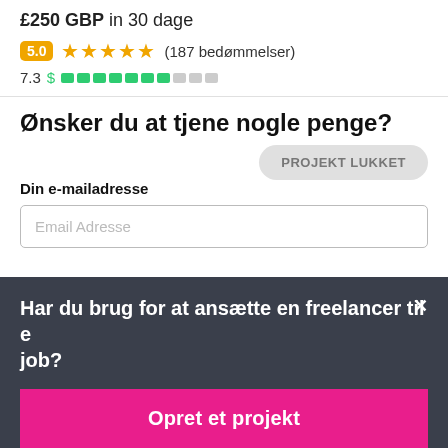£250 GBP in 30 dage
5.0 ★★★★★ (187 bedømmelser)
7.3 $ [progress bar]
Ønsker du at tjene nogle penge?
PROJEKT LUKKET
Din e-mailadresse
Email Adresse
Har du brug for at ansætte en freelancer til et job?
Opret et projekt